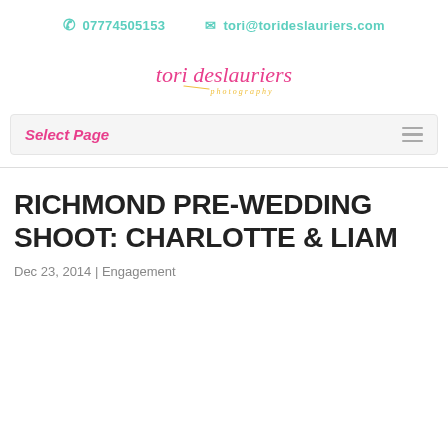07774505153   tori@torideslauriers.com
[Figure (logo): Tori Deslauriers Photography logo — 'tori deslauriers' in pink italic serif font with 'photography' in small yellow italic text below]
Select Page
RICHMOND PRE-WEDDING SHOOT: CHARLOTTE & LIAM
Dec 23, 2014 | Engagement